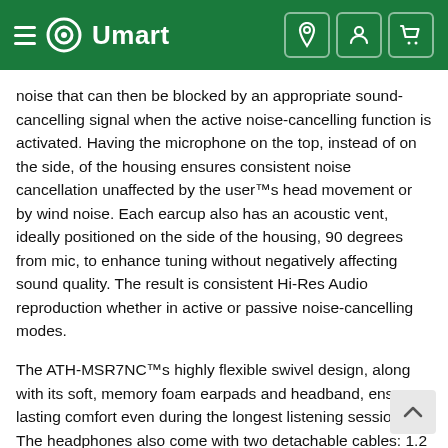Umart
noise that can then be blocked by an appropriate sound-cancelling signal when the active noise-cancelling function is activated. Having the microphone on the top, instead of on the side, of the housing ensures consistent noise cancellation unaffected by the user™s head movement or by wind noise. Each earcup also has an acoustic vent, ideally positioned on the side of the housing, 90 degrees from mic, to enhance tuning without negatively affecting sound quality. The result is consistent Hi-Res Audio reproduction whether in active or passive noise-cancelling modes.
The ATH-MSR7NC™s highly flexible swivel design, along with its soft, memory foam earpads and headband, ensure lasting comfort even during the longest listening sessions. The headphones also come with two detachable cables: 1.2 m standard cable and a 1.2 m cable with in-line controls and microphone for use with smartphones. An internal 3.7V lithium polymer battery powers the active noise-cancelling func and can easily be recharged using the included USB cha cable.